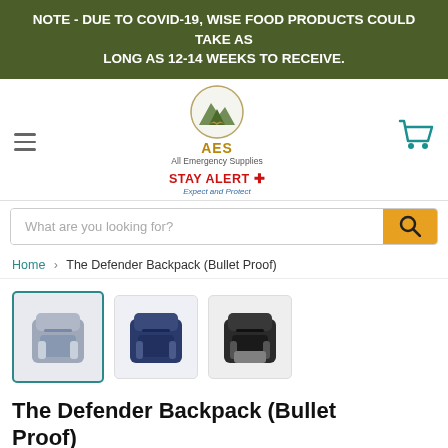NOTE - DUE TO COVID-19, WISE FOOD PRODUCTS COULD TAKE AS LONG AS 12-14 WEEKS TO RECEIVE.
[Figure (logo): AES All Emergency Supplies logo with mountain graphic, STAY ALERT cross tagline, and shopping cart icon]
What are you looking for?
Home > The Defender Backpack (Bullet Proof)
[Figure (photo): Three backpack thumbnails: grey/blue backpack (selected), navy blue backpack, black backpack]
The Defender Backpack (Bullet Proof)